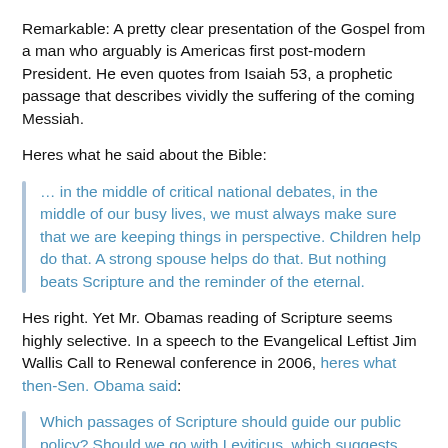Remarkable: A pretty clear presentation of the Gospel from a man who arguably is Americas first post-modern President. He even quotes from Isaiah 53, a prophetic passage that describes vividly the suffering of the coming Messiah.
Heres what he said about the Bible:
… in the middle of critical national debates, in the middle of our busy lives, we must always make sure that we are keeping things in perspective. Children help do that. A strong spouse helps do that. But nothing beats Scripture and the reminder of the eternal.
Hes right. Yet Mr. Obamas reading of Scripture seems highly selective. In a speech to the Evangelical Leftist Jim Wallis Call to Renewal conference in 2006, heres what then-Sen. Obama said:
Which passages of Scripture should guide our public policy? Should we go with Leviticus, which suggests slavery is ok and that eating shellfish is abomination? How about Deuteronomy, which suggests stoning your child if he strays from the faith? Or should we just stick to the Sermon on the Mount - a passage that is so